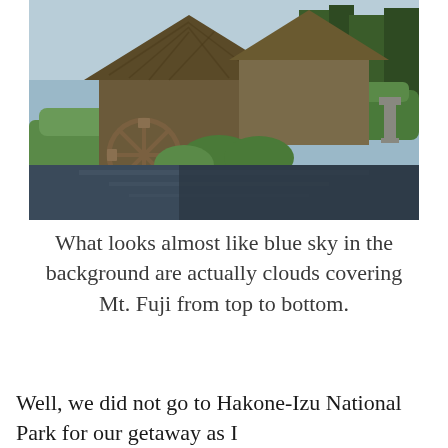[Figure (photo): A traditional Japanese thatched-roof building with a wooden water wheel, surrounded by manicured green hedges, trees, and a calm reflective pond in the foreground.]
What looks almost like blue sky in the background are actually clouds covering Mt. Fuji from top to bottom.
Well, we did not go to Hakone-Izu National Park for our getaway as I